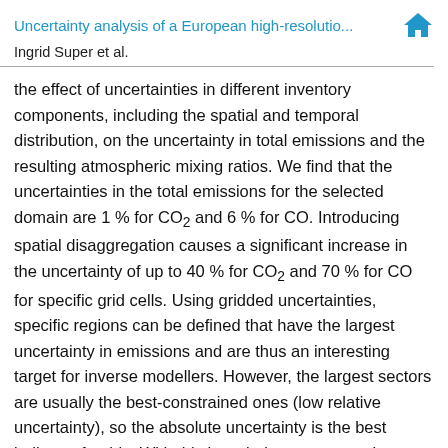Uncertainty analysis of a European high-resolutio...
Ingrid Super et al.
the effect of uncertainties in different inventory components, including the spatial and temporal distribution, on the uncertainty in total emissions and the resulting atmospheric mixing ratios. We find that the uncertainties in the total emissions for the selected domain are 1 % for CO₂ and 6 % for CO. Introducing spatial disaggregation causes a significant increase in the uncertainty of up to 40 % for CO₂ and 70 % for CO for specific grid cells. Using gridded uncertainties, specific regions can be defined that have the largest uncertainty in emissions and are thus an interesting target for inverse modellers. However, the largest sectors are usually the best-constrained ones (low relative uncertainty), so the absolute uncertainty is the best indicator for this. With this knowledge, areas can be identified that are most sensitive to the largest emission uncertainties, which supports network design.